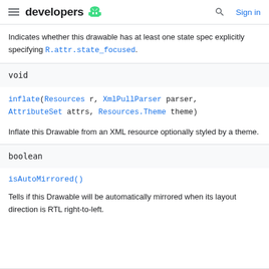developers
Indicates whether this drawable has at least one state spec explicitly specifying R.attr.state_focused.
void
inflate(Resources r, XmlPullParser parser, AttributeSet attrs, Resources.Theme theme)
Inflate this Drawable from an XML resource optionally styled by a theme.
boolean
isAutoMirrored()
Tells if this Drawable will be automatically mirrored when its layout direction is RTL right-to-left.